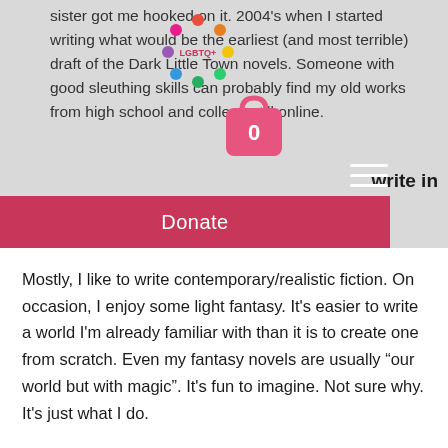sister got me hooked on it. 2004's when I started writing what would be the earliest (and most terrible) draft of the Dark Little Town novels. Someone with good sleuthing skills can probably find my old works from high school and college still online.
[Figure (logo): Colorful circular LGBTQ+ logo with figures around the ring]
[Figure (illustration): Pink shopping cart bag icon with number 0]
[Figure (other): Hamburger menu icon (three white horizontal lines)]
write in and what drew you to it them.
Donate
Mostly, I like to write contemporary/realistic fiction. On occasion, I enjoy some light fantasy. It's easier to write a world I'm already familiar with than it is to create one from scratch. Even my fantasy novels are usually “our world but with magic”. It's fun to imagine. Not sure why. It's just what I do.